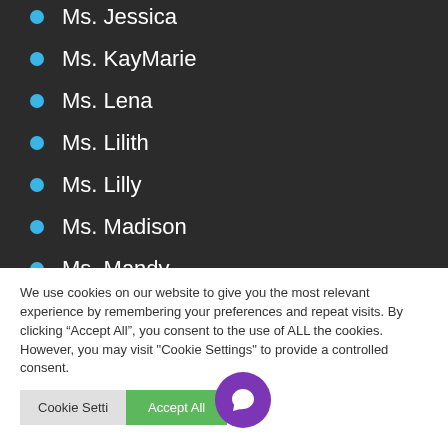Ms. Jessica
Ms. KayMarie
Ms. Lena
Ms. Lilith
Ms. Lilly
Ms. Madison
Ms. Mandy
Ms. Nadia
Ms. Olivia
We use cookies on our website to give you the most relevant experience by remembering your preferences and repeat visits. By clicking “Accept All”, you consent to the use of ALL the cookies. However, you may visit "Cookie Settings" to provide a controlled consent.